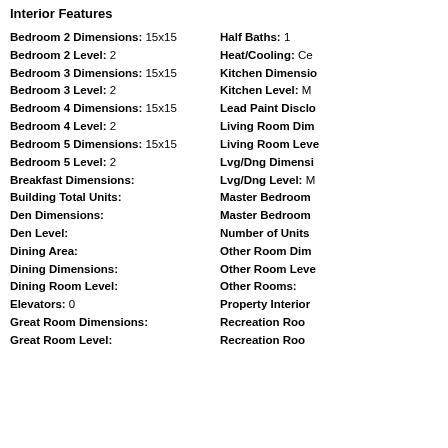Interior Features
Bedroom 2 Dimensions: 15x15
Bedroom 2 Level: 2
Bedroom 3 Dimensions: 15x15
Bedroom 3 Level: 2
Bedroom 4 Dimensions: 15x15
Bedroom 4 Level: 2
Bedroom 5 Dimensions: 15x15
Bedroom 5 Level: 2
Breakfast Dimensions:
Building Total Units:
Den Dimensions:
Den Level:
Dining Area:
Dining Dimensions:
Dining Room Level:
Elevators: 0
Great Room Dimensions:
Great Room Level:
Half Baths: 1
Heat/Cooling: Ce...
Kitchen Dimensio...
Kitchen Level: M...
Lead Paint Disclo...
Living Room Dim...
Living Room Lev...
Lvg/Dng Dimensi...
Lvg/Dng Level: M...
Master Bedroom...
Master Bedroom...
Number of Units...
Other Room Dim...
Other Room Leve...
Other Rooms:
Property Interior...
Recreation Roo...
Recreation Roo...